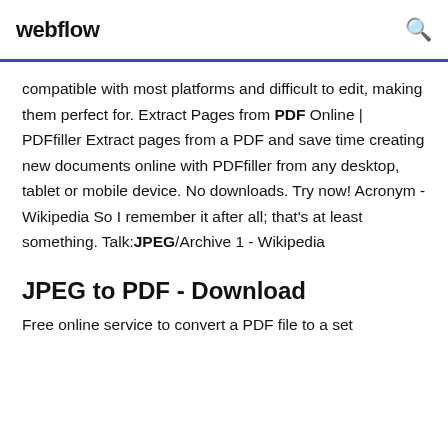webflow
compatible with most platforms and difficult to edit, making them perfect for. Extract Pages from PDF Online | PDFfiller Extract pages from a PDF and save time creating new documents online with PDFfiller from any desktop, tablet or mobile device. No downloads. Try now! Acronym - Wikipedia So I remember it after all; that's at least something. Talk:JPEG/Archive 1 - Wikipedia
JPEG to PDF - Download
Free online service to convert a PDF file to a set of optimized JPEG images to offer...